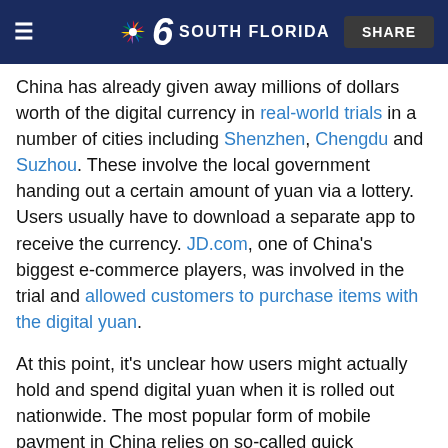NBC 6 South Florida — SHARE
China has already given away millions of dollars worth of the digital currency in real-world trials in a number of cities including Shenzhen, Chengdu and Suzhou. These involve the local government handing out a certain amount of yuan via a lottery. Users usually have to download a separate app to receive the currency. JD.com, one of China's biggest e-commerce players, was involved in the trial and allowed customers to purchase items with the digital yuan.
At this point, it's unclear how users might actually hold and spend digital yuan when it is rolled out nationwide. The most popular form of mobile payment in China relies on so-called quick response (QR) codes. Users can display this barcode in their Alipay or WeChat app in a store and the merchant will scan it.